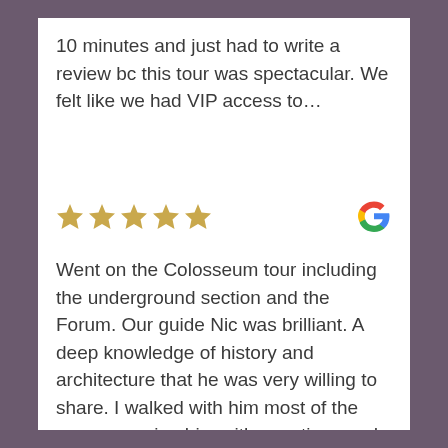10 minutes and just had to write a review bc this tour was spectacular. We felt like we had VIP access to…
[Figure (other): Five gold star rating icons followed by a Google logo icon on the right]
Went on the Colosseum tour including the underground section and the Forum. Our guide Nic was brilliant. A deep knowledge of history and architecture that he was very willing to share. I walked with him most of the way peppering him with questions and he added much depth and colour to my amateur historian understanding. Excellent value for what you get!